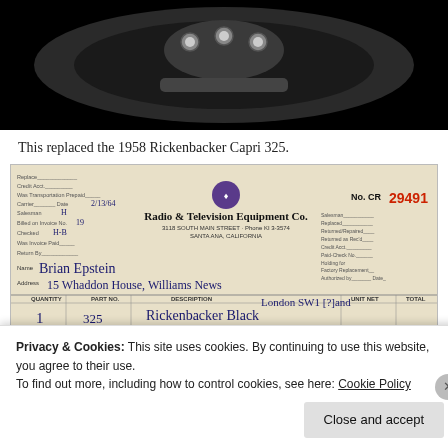[Figure (photo): Close-up photo of a guitar headstock with tuning pegs against a black background]
This replaced the 1958 Rickenbacker Capri 325.
[Figure (photo): Scanned receipt from Radio & Television Equipment Co., 3118 South Main Street, Phone KI 3-3574, Santa Ana, California. No. CR 29491, Date 2/13/64. Name: Brian Epstein, Address: 15 Whaddon House, Williams News London SW1 [?]and. Quantity: 1, Part No.: 325, Description: Rickenbacker Black Guitar BD 122.]
Privacy & Cookies: This site uses cookies. By continuing to use this website, you agree to their use.
To find out more, including how to control cookies, see here: Cookie Policy